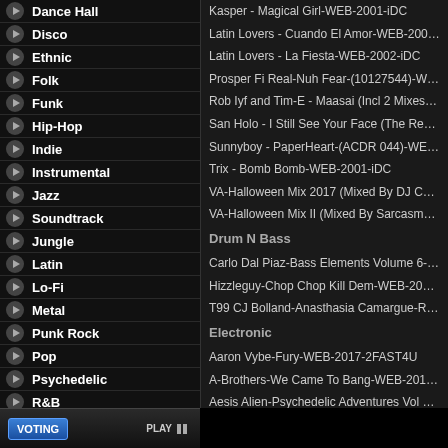Dance Hall
Disco
Ethnic
Folk
Funk
Hip-Hop
Indie
Instrumental
Jazz
Soundtrack
Jungle
Latin
Lo-Fi
Metal
Punk Rock
Pop
Psychedelic
R&B
Rap
Rock
Kasper - Magical Girl-WEB-2001-iDC
Latin Lovers - Cuando El Amor-WEB-2004-iDC
Latin Lovers - La Fiesta-WEB-2002-iDC
Prosper Fi Real-Nuh Fear-(10127544)-WEB-201
Rob Iyf and Tim-E - Maasai (Incl 2 Mixes)-(DNZ
San Holo - I Still See Your Face (The Remixes)-(
Sunnyboy - PaperHeart-(ACDR 044)-WEB-2017
Trix - Bomb Bomb-WEB-2001-iDC
VA-Halloween Mix 2017 (Mixed By DJ Chikid)-
VA-Halloween Mix II (Mixed By Sarcasmes)-BC
Drum N Bass
Carlo Dal Piaz-Bass Elements Volume 6-(361497
Hizzleguy-Chop Chop Kill Dem-WEB-2017-ENS
T99 CJ Bolland-Anasthasia Camargue-REMIXES
Electronic
Aaron Vybe-Fury-WEB-2017-2FAST4U
A-Brothers-We Came To Bang-WEB-2017-2FAS
Aesis Alien-Psychedelic Adventures Vol 2-WEB-
Alanah Sabatini-Overflow-WEB-2017-2FAST4U
Alessan Main-Razones Experimentales-WEB-20
Antonino Pace-You Look At Me-WEB-2017-2FA
Arty Party-Midnight Shift-WEB-2017-2FAST4U
Astral-Rumah Kentang-WEB-2017-2FAST4U
Black Light Ascension-Post Future Recordings-W
Black Light Ascension-The Austerity Exhibition